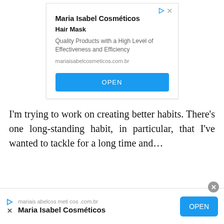[Figure (screenshot): Advertisement banner for Maria Isabel Cosméticos Hair Mask with title, description, URL, and OPEN button]
I'm trying to work on creating better habits. There's one long-standing habit, in particular, that I've wanted to tackle for a long time and...
[Figure (screenshot): Bottom advertisement bar for Maria Isabel Cosméticos with URL, brand name, and OPEN button]